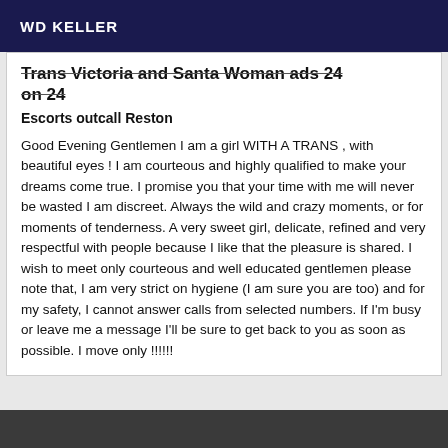WD KELLER
Trans Victoria and Santa Woman ads 24 on 24
Escorts outcall Reston
Good Evening Gentlemen I am a girl WITH A TRANS , with beautiful eyes ! I am courteous and highly qualified to make your dreams come true. I promise you that your time with me will never be wasted I am discreet. Always the wild and crazy moments, or for moments of tenderness. A very sweet girl, delicate, refined and very respectful with people because I like that the pleasure is shared. I wish to meet only courteous and well educated gentlemen please note that, I am very strict on hygiene (I am sure you are too) and for my safety, I cannot answer calls from selected numbers. If I'm busy or leave me a message I'll be sure to get back to you as soon as possible. I move only !!!!!!